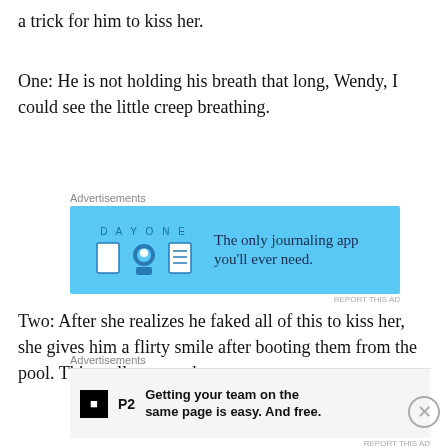a trick for him to kiss her.
One: He is not holding his breath that long, Wendy, I could see the little creep breathing.
[Figure (other): Advertisement for Day One journaling app with blue background, icons, and text: 'The only journaling app you'll ever need.']
Two: After she realizes he faked all of this to kiss her, she gives him a flirty smile after booting them from the pool. This really creeped me out.
[Figure (other): Advertisement for P2 with text: 'Getting your team on the same page is easy. And free.']